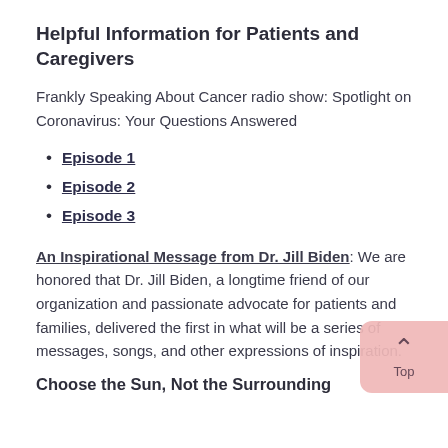Helpful Information for Patients and Caregivers
Frankly Speaking About Cancer radio show: Spotlight on Coronavirus: Your Questions Answered
Episode 1
Episode 2
Episode 3
An Inspirational Message from Dr. Jill Biden: We are honored that Dr. Jill Biden, a longtime friend of our organization and passionate advocate for patients and families, delivered the first in what will be a series of messages, songs, and other expressions of inspiration.
Choose the Sun, Not the Surrounding